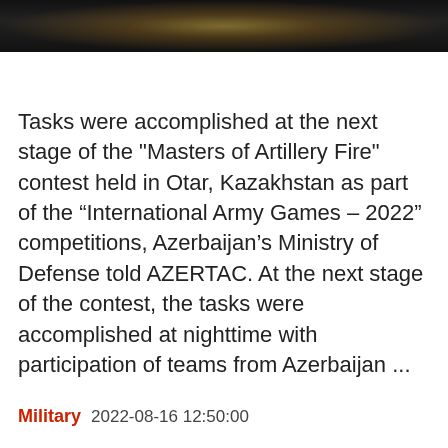[Figure (photo): Dark image strip at top of page, showing a dim scene with warm golden light in the center, likely a military or outdoor nighttime scene.]
Tasks were accomplished at the next stage of the "Masters of Artillery Fire" contest held in Otar, Kazakhstan as part of the “International Army Games – 2022” competitions, Azerbaijan’s Ministry of Defense told AZERTAC. At the next stage of the contest, the tasks were accomplished at nighttime with participation of teams from Azerbaijan ...
Military   2022-08-16 12:50:00